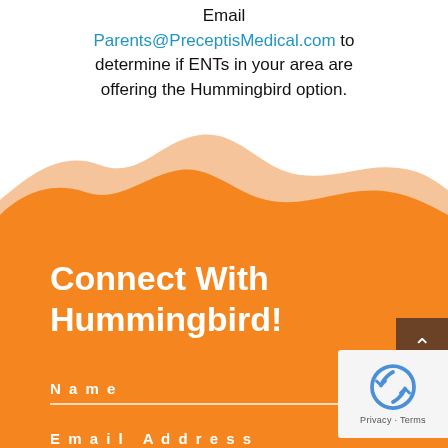Email Parents@PreceptisMedical.com to determine if ENTs in your area are offering the Hummingbird option.
[Figure (illustration): Wavy decorative hills/mountains in orange and light peach colors transitioning from white background to orange background]
Connect With Hummingbird!
Name
Email Address
[Figure (other): reCAPTCHA badge with spinning arrows icon and Privacy - Terms text]